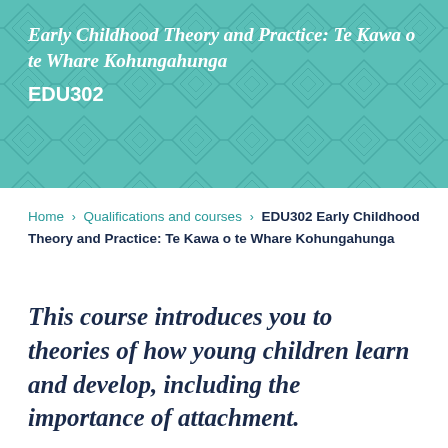Early Childhood Theory and Practice: Te Kawa o te Whare Kohungahunga
EDU302
Home › Qualifications and courses › EDU302 Early Childhood Theory and Practice: Te Kawa o te Whare Kohungahunga
This course introduces you to theories of how young children learn and develop, including the importance of attachment.